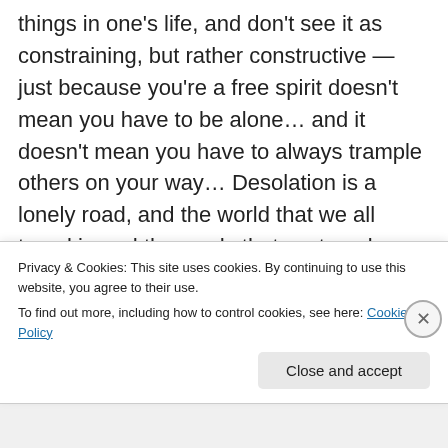things in one's life, and don't see it as constraining, but rather constructive — just because you're a free spirit doesn't mean you have to be alone… and it doesn't mean you have to always trample others on your way… Desolation is a lonely road, and the world that we all travel in and the roads that we travel on are paved with potholes, missteps, and mistakes — but free spirits in my mind are the ones that truly find the beauty in the embrace, beauty in the crazy and are the creators of their dreams in
Privacy & Cookies: This site uses cookies. By continuing to use this website, you agree to their use.
To find out more, including how to control cookies, see here: Cookie Policy